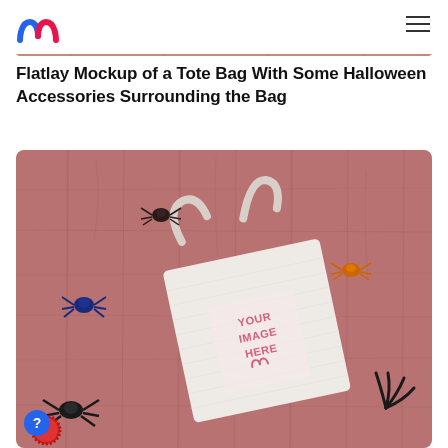Mediamodifier logo and navigation
[Figure (photo): Top portion of a flatlay photo on a rustic red/pink wooden background, partially cropped at top]
Flatlay Mockup of a Tote Bag With Some Halloween Accessories Surrounding the Bag
[Figure (photo): Flatlay mockup photo of a white canvas tote bag on a rustic red/pink wood plank background, surrounded by Halloween accessories including toy spiders (blue, orange, black) and other decorations. The bag has a placeholder text 'YOUR IMAGE HERE' in pink letters with a Mediamodifier logo watermark.]